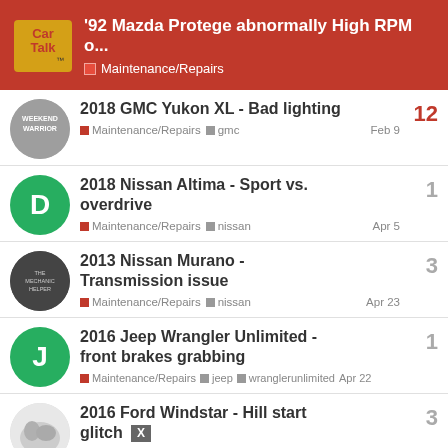'92 Mazda Protege abnormally High RPM o... | Maintenance/Repairs
2018 GMC Yukon XL - Bad lighting | Maintenance/Repairs | gmc | Feb 9 | 12 replies
2018 Nissan Altima - Sport vs. overdrive | Maintenance/Repairs | nissan | Apr 5 | 1 reply
2013 Nissan Murano - Transmission issue | Maintenance/Repairs | nissan | Apr 23 | 3 replies
2016 Jeep Wrangler Unlimited - front brakes grabbing | Maintenance/Repairs | jeep | wranglerunlimited | Apr 22 | 1 reply
2016 Ford Windstar - Hill start glitch | 3 replies